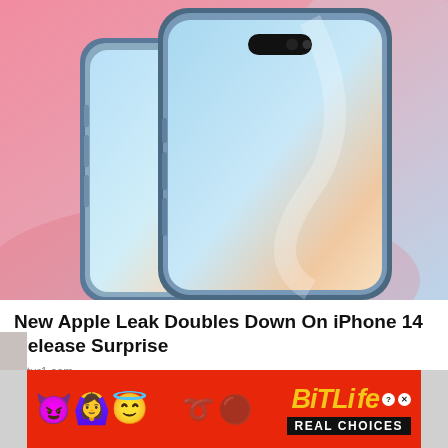[Figure (photo): Two iPhone 14 Pro concept renders shown at an angle, with Dynamic Island pill-shaped cutout at the top, silver/blue metallic frames, and gradient blue-pink-orange wallpapers, on a pink and blue background.]
New Apple Leak Doubles Down On iPhone 14 Release Surprise
cutur1.com
[Figure (infographic): BitLife advertisement banner with red background, devil emoji, woman raising hands emoji, angel emoji, sperm emoji, BitLife logo in yellow italic bold text with question mark and X badges, and 'REAL CHOICES' in white text on black background.]